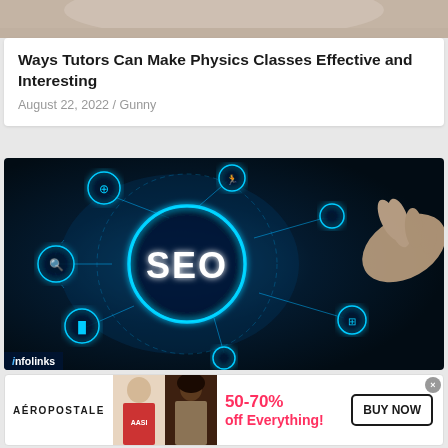[Figure (photo): Top strip of an image showing a person, partially cropped]
Ways Tutors Can Make Physics Classes Effective and Interesting
August 22, 2022 / Gunny
[Figure (photo): SEO themed digital illustration showing a glowing SEO circular button with connected nodes and icons on dark background, with a hand pointing at it. Infolinks badge in lower left.]
[Figure (photo): Aeropostale advertisement banner showing two female models, with text '50-70% off Everything!' and a 'BUY NOW' button]